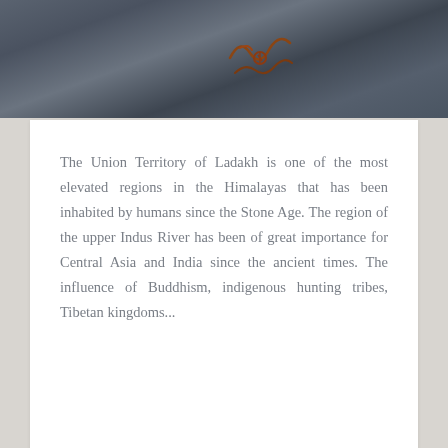[Figure (photo): Photograph of dark rocky surface with reddish-brown ancient markings or petroglyphs visible on the stone.]
The Union Territory of Ladakh is one of the most elevated regions in the Himalayas that has been inhabited by humans since the Stone Age. The region of the upper Indus River has been of great importance for Central Asia and India since the ancient times. The influence of Buddhism, indigenous hunting tribes, Tibetan kingdoms...
Continue Reading →
November 6, 2020   0